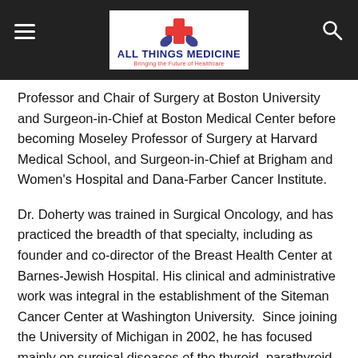ALL THINGS MEDICINE — Bringing the Future of Healthcare
Professor and Chair of Surgery at Boston University and Surgeon-in-Chief at Boston Medical Center before becoming Moseley Professor of Surgery at Harvard Medical School, and Surgeon-in-Chief at Brigham and Women's Hospital and Dana-Farber Cancer Institute.
Dr. Doherty was trained in Surgical Oncology, and has practiced the breadth of that specialty, including as founder and co-director of the Breast Health Center at Barnes-Jewish Hospital. His clinical and administrative work was integral in the establishment of the Siteman Cancer Center at Washington University.  Since joining the University of Michigan in 2002, he has focused mainly on surgical diseases of the thyroid, parathyroid, endocrine pancreas and adrenal glands as well as the surgical management of Multiple Endocrine Neoplasia